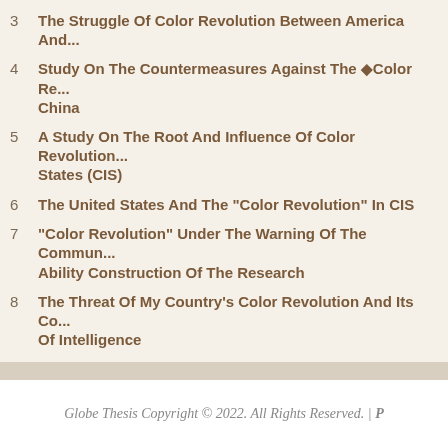3  The Struggle Of Color Revolution Between America And...
4  Study On The Countermeasures Against The �Color Re... China
5  A Study On The Root And Influence Of Color Revolution... States (CIS)
6  The United States And The "Color Revolution" In CIS
7  "Color Revolution" Under The Warning Of The Commun... Ability Construction Of The Research
8  The Threat Of My Country's Color Revolution And Its Co... Of Intelligence
9  The "color Revolution" Was Blocked In Central Asia And...
10  On The Influence Of The INGOs In Color Revolution
Globe Thesis Copyright © 2022. All Rights Reserved. | P